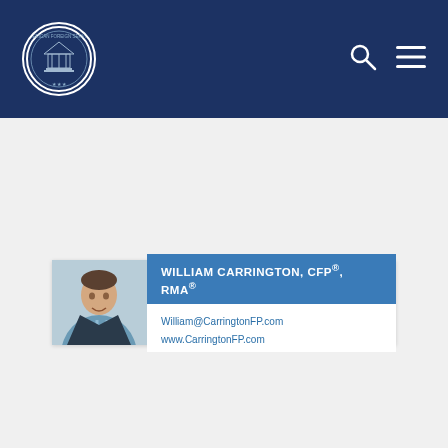[Figure (logo): American Foreign Service Association circular logo with building/capitol imagery, white border on dark navy background, with search icon and hamburger menu icon in top right]
WILLIAM CARRINGTON, CFP®, RMA®
William@CarringtonFP.com  www.CarringtonFP.com
[Figure (infographic): Corporate Housing in Washington, DC advertisement card with teal/blue-grey overlay box on left showing text, and a smiling woman on the right side over a light bright background]
CORPORATE HOUSING in Washington, DC